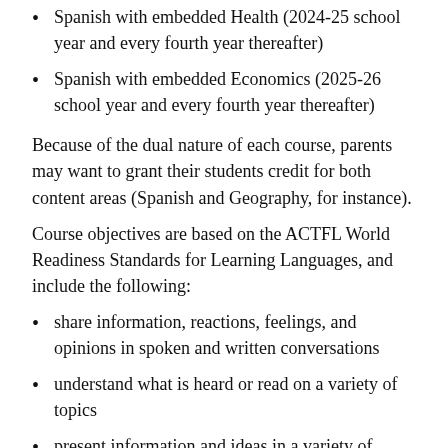Spanish with embedded Health (2024-25 school year and every fourth year thereafter)
Spanish with embedded Economics (2025-26 school year and every fourth year thereafter)
Because of the dual nature of each course, parents may want to grant their students credit for both content areas (Spanish and Geography, for instance).
Course objectives are based on the ACTFL World Readiness Standards for Learning Languages, and include the following:
share information, reactions, feelings, and opinions in spoken and written conversations
understand what is heard or read on a variety of topics
present information and ideas in a variety of